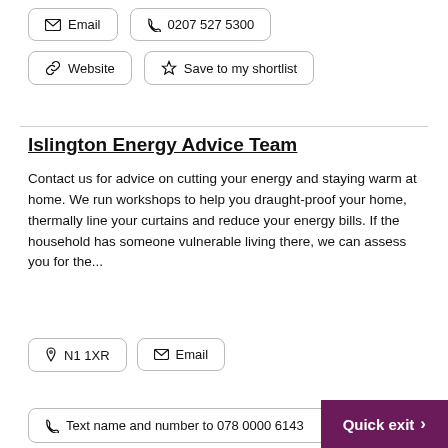Email
0207 527 5300
Website
Save to my shortlist
Islington Energy Advice Team
Contact us for advice on cutting your energy and staying warm at home. We run workshops to help you draught-proof your home, thermally line your curtains and reduce your energy bills. If the household has someone vulnerable living there, we can assess you for the...
N1 1XR
Email
Text name and number to 078 0000 6143